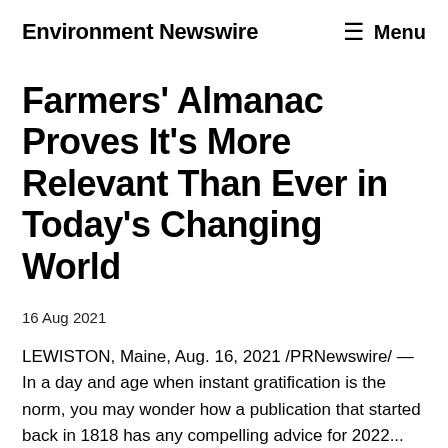Environment Newswire  Menu
Farmers' Almanac Proves It's More Relevant Than Ever in Today's Changing World
16 Aug 2021
LEWISTON, Maine, Aug. 16, 2021 /PRNewswire/ — In a day and age when instant gratification is the norm, you may wonder how a publication that started back in 1818 has any compelling advice for 2022...